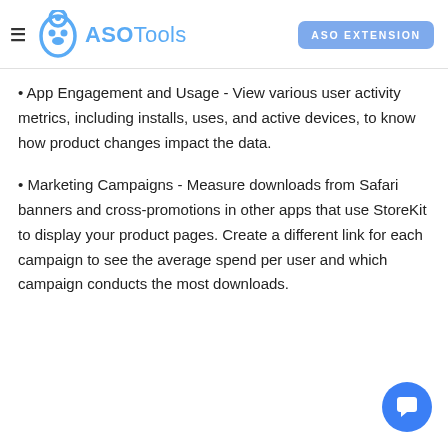ASOTools — ASO EXTENSION
• App Engagement and Usage - View various user activity metrics, including installs, uses, and active devices, to know how product changes impact the data.
• Marketing Campaigns - Measure downloads from Safari banners and cross-promotions in other apps that use StoreKit to display your product pages. Create a different link for each campaign to see the average spend per user and which campaign conducts the most downloads.